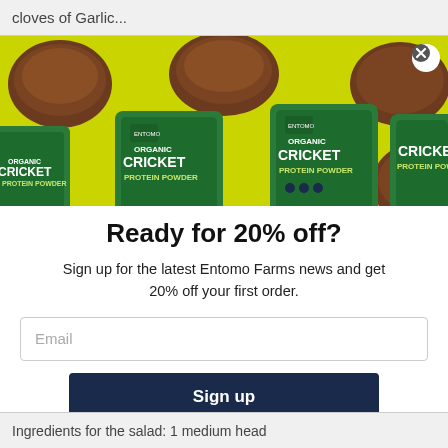cloves of Garlic...
[Figure (photo): Product photo showing multiple green Entomo Farms Organic Cricket Protein Powder bags arranged diagonally on a yellow-green background with piles of brown cricket powder.]
Ready for 20% off?
Sign up for the latest Entomo Farms news and get 20% off your first order.
Email
Sign up
Ingredients for the salad: 1 medium head